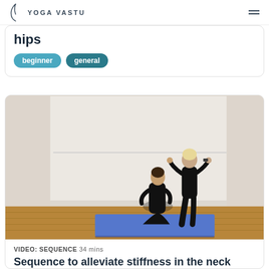YOGA VASTU
hips
beginner   general
[Figure (photo): Two women in black clothing doing a yoga pose on a blue mat in a white studio with wooden floors. One woman kneels while the other stands behind assisting with a neck stretch.]
VIDEO: SEQUENCE  34 mins
Sequence to alleviate stiffness in the neck